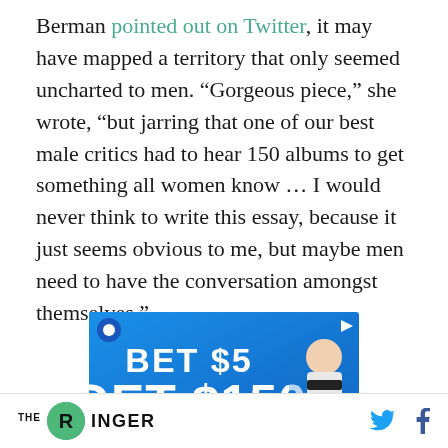Berman pointed out on Twitter, it may have mapped a territory that only seemed uncharted to men. “Gorgeous piece,” she wrote, “but jarring that one of our best male critics had to hear 150 albums to get something all women know … I would never think to write this essay, because it just seems obvious to me, but maybe men need to have the conversation amongst themselves.”
[Figure (other): Advertisement banner: BET $5 GET $150 on blue background with sports imagery]
THE RINGER [logo] [Twitter icon] [Facebook icon]